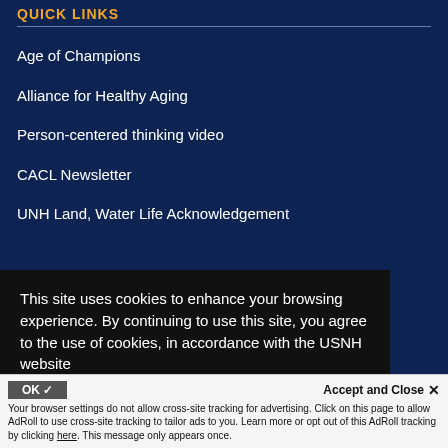QUICK LINKS
Age of Champions
Alliance for Healthy Aging
Person-centered thinking video
CACL Newsletter
UNH Land, Water Life Acknowledgement
GIVE | UNEDIT | COLLEGE HOME
This site uses cookies to enhance your browsing experience. By continuing to use this site, you agree to the use of cookies, in accordance with the USNH website Privacy Policy.
Copyright © 2022 – TTY Users: Dial 800-735-2964 (Relay NH)
Your browser settings do not allow cross-site tracking for advertising. Click on this page to allow AdRoll to use cross-site tracking to tailor ads to you. Learn more or opt out of this AdRoll tracking by clicking here. This message only appears once.